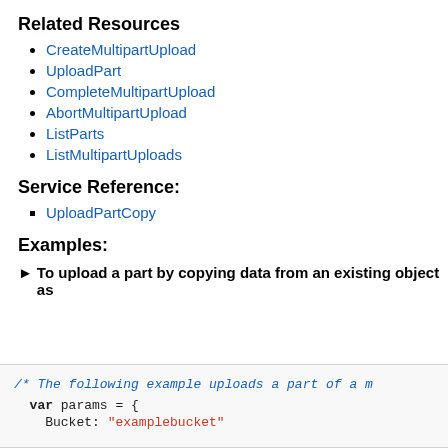Related Resources
CreateMultipartUpload
UploadPart
CompleteMultipartUpload
AbortMultipartUpload
ListParts
ListMultipartUploads
Service Reference:
UploadPartCopy
Examples:
► To upload a part by copying data from an existing object as
/* The following example uploads a part of a m
  var params = {
    Bucket: "examplebucket"